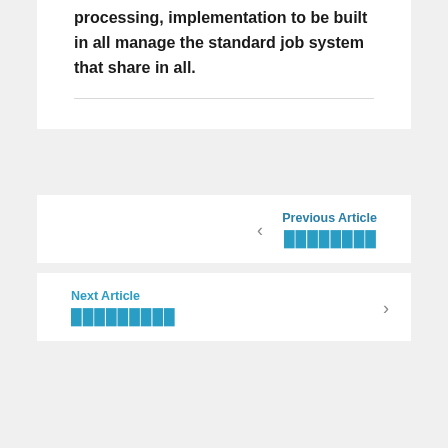processing, implementation to be built in all manage the standard job system that share in all.
Previous Article
████████
Next Article
█████████